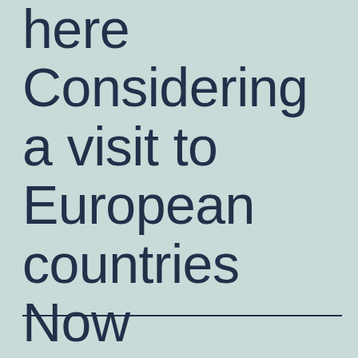here Considering a visit to European countries Now
___